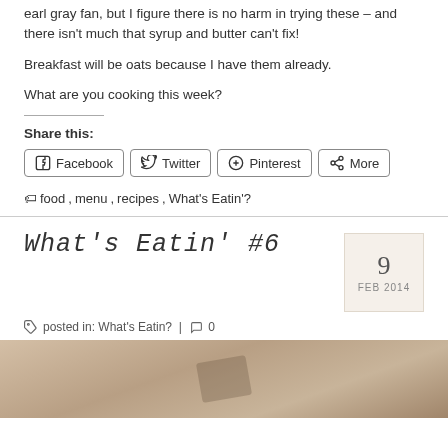earl gray fan, but I figure there is no harm in trying these – and there isn't much that syrup and butter can't fix!
Breakfast will be oats because I have them already.
What are you cooking this week?
Share this:
[Figure (other): Social share buttons: Facebook, Twitter, Pinterest, More]
food, menu, recipes, What's Eatin'?
What's Eatin' #6
9 FEB 2014
posted in: What's Eatin? | 0
[Figure (photo): A beige/tan background with a leather or wooden object visible, soft focus food blog photo]